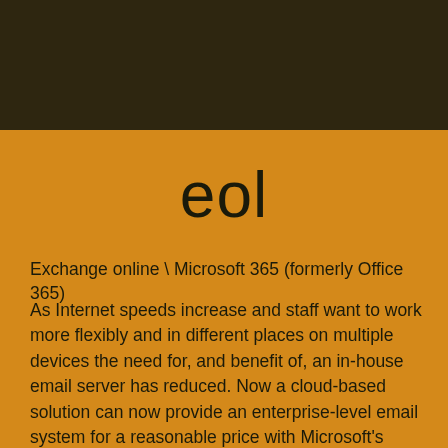[Figure (other): Dark brown header band at top of page]
eol
Exchange online \ Microsoft 365 (formerly Office 365)
As Internet speeds increase and staff want to work more flexibly and in different places on multiple devices the need for, and benefit of, an in-house email server has reduced. Now a cloud-based solution can now provide an enterprise-level email system for a reasonable price with Microsoft's Exchange Online.
The same level of service is available to small organisations